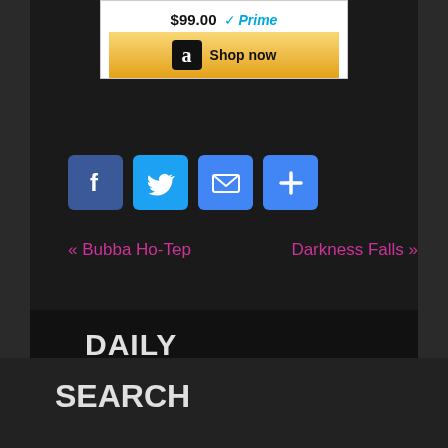[Figure (screenshot): Amazon advertisement showing $99.00 price with Prime logo and a Shop now button with Amazon logo]
[Figure (infographic): Social sharing buttons: Facebook, Twitter, Email, and Share (plus icon)]
« Bubba Ho-Tep
Darkness Falls »
DAILY PROPAGANDA
» Incels vs. Furries
SEARCH